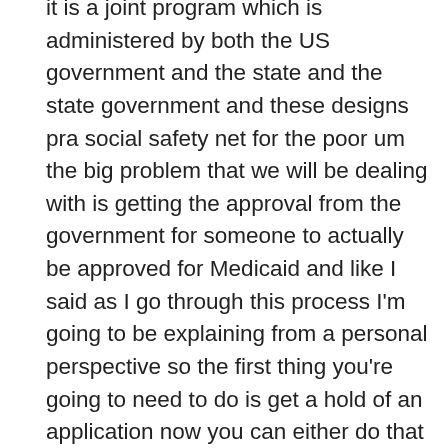it is a joint program which is administered by both the US government and the state and the state government and these designs pra social safety net for the poor um the big problem that we will be dealing with is getting the approval from the government for someone to actually be approved for Medicaid and like I said as I go through this process I'm going to be explaining from a personal perspective so the first thing you're going to need to do is get a hold of an application now you can either do that through the Department of Social Services or you can go to the social worker suite at the hospital that's actually what I did after my mother's heart attack and I realized that you know her her medical needs were beyond the capacity of my brother and I to take care of her we needed to get her somewhere